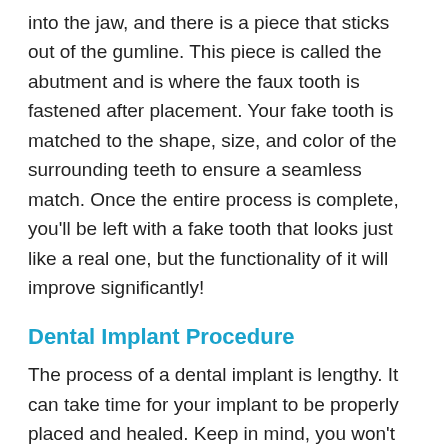into the jaw, and there is a piece that sticks out of the gumline. This piece is called the abutment and is where the faux tooth is fastened after placement. Your fake tooth is matched to the shape, size, and color of the surrounding teeth to ensure a seamless match. Once the entire process is complete, you'll be left with a fake tooth that looks just like a real one, but the functionality of it will improve significantly!
Dental Implant Procedure
The process of a dental implant is lengthy. It can take time for your implant to be properly placed and healed. Keep in mind, you won't be dealing with a lot of pain during the procedure, but it does take time for optimal results. After you are placed under general anesthesia to avoid any feeling in your mouth, your dentist will cut into your gum to expose the jaw bone underneath. Following this, a hole will be drilled where